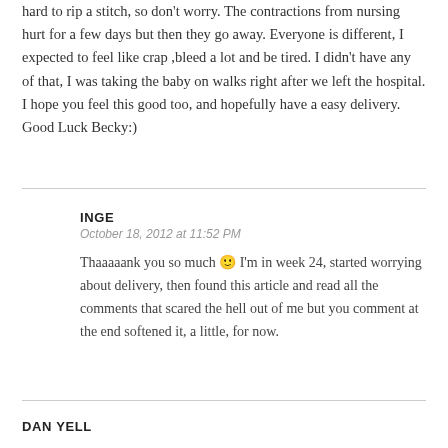hard to rip a stitch, so don't worry. The contractions from nursing hurt for a few days but then they go away. Everyone is different, I expected to feel like crap ,bleed a lot and be tired. I didn't have any of that, I was taking the baby on walks right after we left the hospital. I hope you feel this good too, and hopefully have a easy delivery. Good Luck Becky:)
INGE
October 18, 2012 at 11:52 PM
Thaaaaank you so much 🙂 I'm in week 24, started worrying about delivery, then found this article and read all the comments that scared the hell out of me but you comment at the end softened it, a little, for now.
DAN YELL